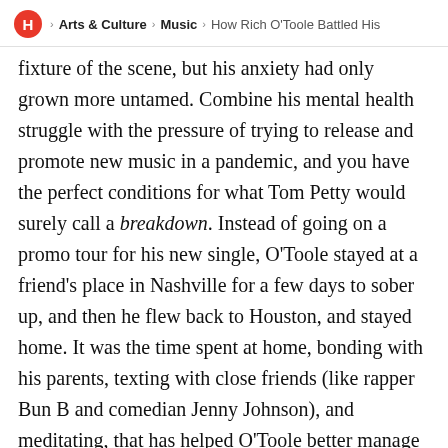H > Arts & Culture > Music > How Rich O'Toole Battled His
fixture of the scene, but his anxiety had only grown more untamed. Combine his mental health struggle with the pressure of trying to release and promote new music in a pandemic, and you have the perfect conditions for what Tom Petty would surely call a breakdown. Instead of going on a promo tour for his new single, O'Toole stayed at a friend's place in Nashville for a few days to sober up, and then he flew back to Houston, and stayed home. It was the time spent at home, bonding with his parents, texting with close friends (like rapper Bun B and comedian Jenny Johnson), and meditating, that has helped O'Toole better manage his anxiety.
It ultimately led the singer to the second important lesson he learned: how to relate to the younger versions of his mother and father. “I spend way more time with my parents now than I ever did,” he says. “When you’re